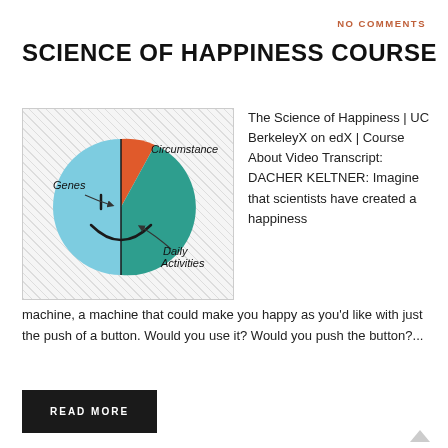NO COMMENTS
SCIENCE OF HAPPINESS COURSE
[Figure (pie-chart): A pie chart styled as a smiley face showing three segments: Genes (left, light blue), Circumstance (top-right, orange/red), and Daily Activities (bottom-right, teal/dark green).]
The Science of Happiness | UC BerkeleyX on edX | Course About Video Transcript: DACHER KELTNER: Imagine that scientists have created a happiness machine, a machine that could make you happy as you’d like with just the push of a button. Would you use it? Would you push the button?...
READ MORE